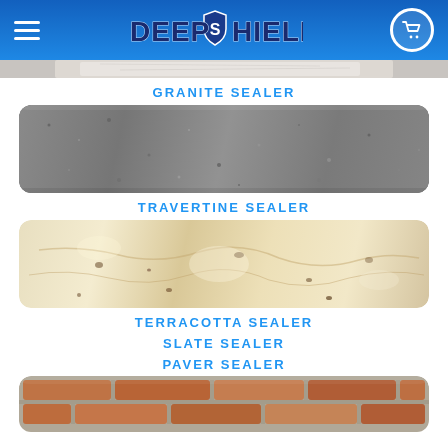DeepShield — navigation header with logo and cart icon
[Figure (photo): Partial stone/marble surface image at top]
GRANITE SEALER
[Figure (photo): Close-up photo of grey granite stone surface]
TRAVERTINE SEALER
[Figure (photo): Close-up photo of beige/cream travertine stone surface with natural pitting and veining]
TERRACOTTA SEALER
SLATE SEALER
PAVER SEALER
[Figure (photo): Close-up photo of red/terracotta brick paver surface with mortar joints, partially visible (cropped)]